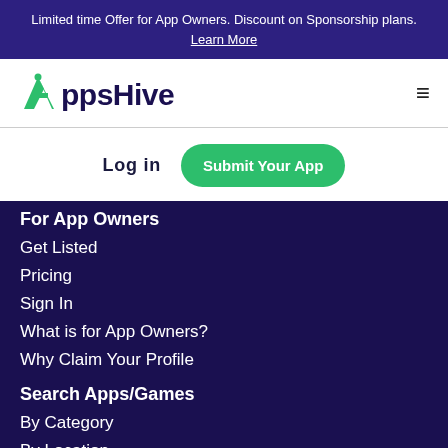Limited time Offer for App Owners. Discount on Sponsorship plans. Learn More
[Figure (logo): AppsHive logo with green 'A' icon and dark blue text]
Log in
Submit Your App
For App Owners
Get Listed
Pricing
Sign In
What is for App Owners?
Why Claim Your Profile
Search Apps/Games
By Category
By Location